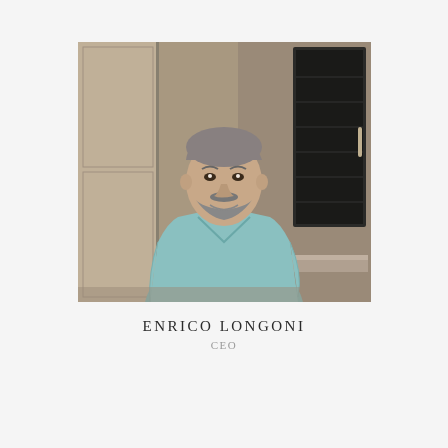[Figure (photo): Portrait photo of Enrico Longoni, a middle-aged man with gray hair and beard, wearing a light blue/teal V-neck sweater over a collared shirt, standing in what appears to be a modern kitchen or office showroom with cabinetry visible in the background.]
ENRICO LONGONI
CEO